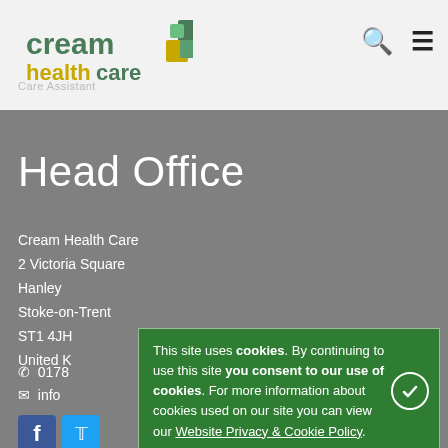[Figure (logo): Cream Health Care logo with green and yellow square tiles and text]
Care Assistant
Head Office
Cream Health Care
2 Victoria Square
Hanley
Stoke-on-Trent
ST1 4JH
United Kingdom
01782...
info@...
This site uses cookies. By continuing to use this site you consent to our use of cookies. For more information about cookies used on our site you can view our Website Privacy & Cookie Policy.